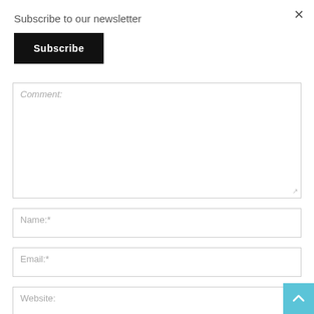Subscribe to our newsletter
Subscribe
Comment:
Name:*
Email:*
Website: